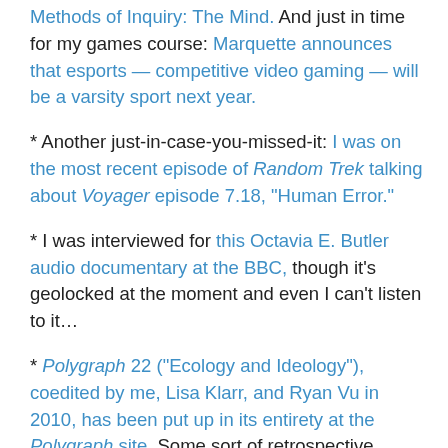Methods of Inquiry: The Mind. And just in time for my games course: Marquette announces that esports — competitive video gaming — will be a varsity sport next year.
* Another just-in-case-you-missed-it: I was on the most recent episode of Random Trek talking about Voyager episode 7.18, "Human Error."
* I was interviewed for this Octavia E. Butler audio documentary at the BBC, though it's geolocked at the moment and even I can't listen to it…
* Polygraph 22 ("Ecology and Ideology"), coedited by me, Lisa Klarr, and Ryan Vu in 2010, has been put up in its entirety at the Polygraph site. Some sort of retrospective involving the three of us is coming in Polygraph 25 on